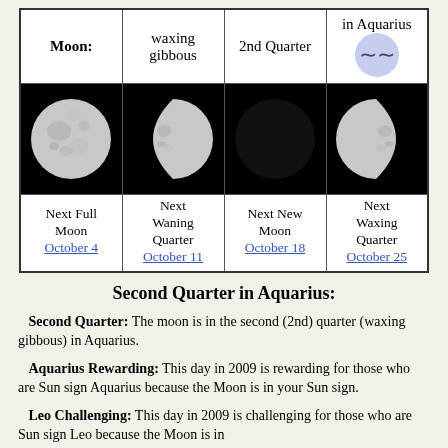| Moon: | waxing gibbous | 2nd Quarter | in Aquarius |
| --- | --- | --- | --- |
| [Full Moon image] | [Waning image] | [New Moon image] | [Waxing image] |
| Next Full Moon
October 4 | Next Waning Quarter
October 11 | Next New Moon
October 18 | Next Waxing Quarter
October 25 |
Second Quarter in Aquarius:
Second Quarter: The moon is in the second (2nd) quarter (waxing gibbous) in Aquarius.
Aquarius Rewarding: This day in 2009 is rewarding for those who are Sun sign Aquarius because the Moon is in your Sun sign.
Leo Challenging: This day in 2009 is challenging for those who are Sun sign Leo because the Moon is in